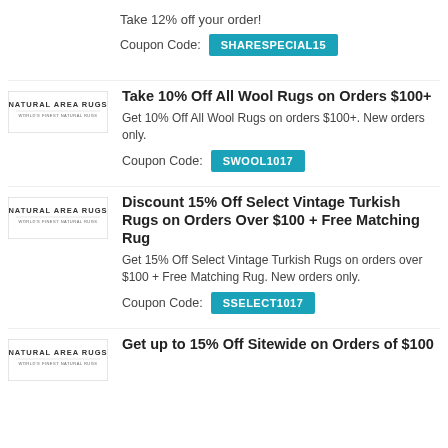Take 12% off your order!
Coupon Code: SHARESPECIAL15
[Figure (logo): Natural Area Rugs logo]
Take 10% Off All Wool Rugs on Orders $100+
Get 10% Off All Wool Rugs on orders $100+. New orders only.
Coupon Code: SWOOL1017
[Figure (logo): Natural Area Rugs logo]
Discount 15% Off Select Vintage Turkish Rugs on Orders Over $100 + Free Matching Rug
Get 15% Off Select Vintage Turkish Rugs on orders over $100 + Free Matching Rug. New orders only.
Coupon Code: SSELECT1017
[Figure (logo): Natural Area Rugs logo]
Get up to 15% Off Sitewide on Orders of $100